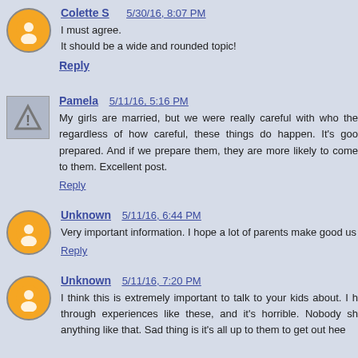Colette S  5/30/16, 8:07 PM
I must agree.
It should be a wide and rounded topic!
Reply
Pamela  5/11/16, 5:16 PM
My girls are married, but we were really careful with who the regardless of how careful, these things do happen. It's goo prepared. And if we prepare them, they are more likely to come to them. Excellent post.
Reply
Unknown  5/11/16, 6:44 PM
Very important information. I hope a lot of parents make good us
Reply
Unknown  5/11/16, 7:20 PM
I think this is extremely important to talk to your kids about. I h through experiences like these, and it's horrible. Nobody sh anything like that. Sad thing is it's all up to them to get out hee